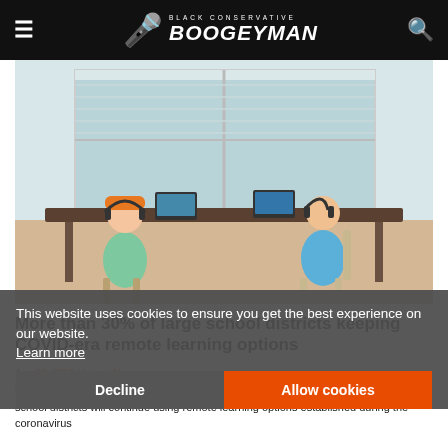Black Conservative Boogeyman - site header with hamburger menu, logo, and search icon
[Figure (photo): Two children wearing headphones sitting at a long desk with laptops/monitors in front of a window with blinds, doing remote learning from home.]
More than 30% of large school districts keeping COVID-era remote learning options
Aug 30, 2022 | Latest News
NEWYou can now listen to Fox News articles!A new study found that 31% of big city school districts will continue using remote learning options established during the coronavirus
This website uses cookies to ensure you get the best experience on our website.
Learn more
Decline   Allow cookies